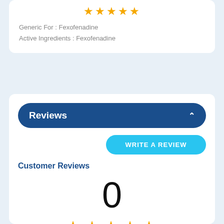[Figure (other): Five gold stars rating display at top of card]
Generic For : Fexofenadine
Active Ingredients : Fexofenadine
Reviews
WRITE A REVIEW
Customer Reviews
0
[Figure (other): Five gold stars rating display]
0 reviews